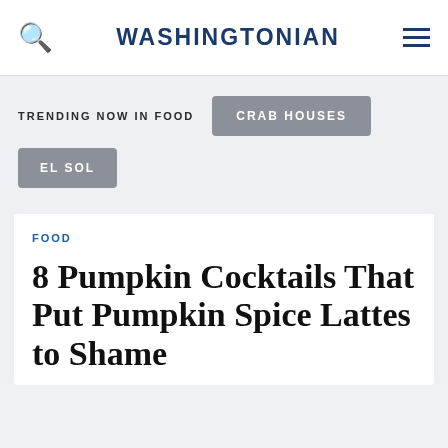WASHINGTONIAN
TRENDING NOW IN FOOD
CRAB HOUSES
EL SOL
FOOD
8 Pumpkin Cocktails That Put Pumpkin Spice Lattes to Shame